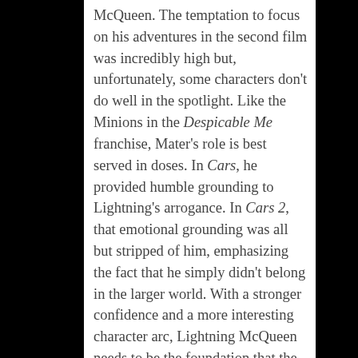McQueen.  The temptation to focus on his adventures in the second film was incredibly high but, unfortunately, some characters don't do well in the spotlight.  Like the Minions in the Despicable Me franchise, Mater's role is best served in doses.  In Cars, he provided humble grounding to Lightning's arrogance.  In Cars 2, that emotional grounding was all but stripped of him, emphasizing the fact that he simply didn't belong in the larger world.  With a stronger confidence and a more interesting character arc, Lightning McQueen needs to be the foundation that the franchise builds